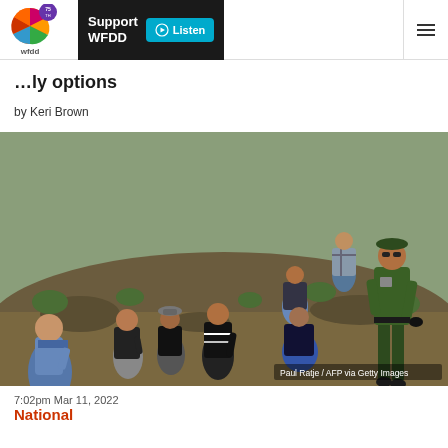WFDD 75th Anniversary — Support WFDD | Listen
… options
by Keri Brown
[Figure (photo): A U.S. Border Patrol agent stands over a group of migrants sitting on the ground in a rocky, arid landscape. Multiple individuals, mostly young men, are seated on a hillside. Photo credit: Paul Ratje / AFP via Getty Images]
7:02pm Mar 11, 2022
National